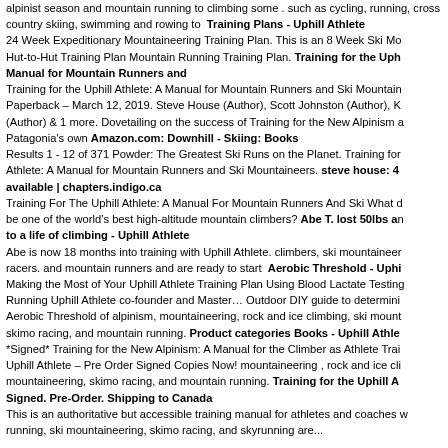alpinist season and mountain running to climbing some . such as cycling, running, cross country skiing, swimming and rowing to  Training Plans - Uphill Athlete 24 Week Expeditionary Mountaineering Training Plan. This is an 8 Week Ski Mo... Hut-to-Hut Training Plan Mountain Running Training Plan. Training for the Uphill ... Manual for Mountain Runners and Training for the Uphill Athlete: A Manual for Mountain Runners and Ski Mountaineers... Paperback – March 12, 2019. Steve House (Author), Scott Johnston (Author), K... (Author) & 1 more. Dovetailing on the success of Training for the New Alpinism a... Patagonia's own Amazon.com: Downhill - Skiing: Books Results 1 - 12 of 371 Powder: The Greatest Ski Runs on the Planet. Training for the Uphill Athlete: A Manual for Mountain Runners and Ski Mountaineers. steve house: 4 available | chapters.indigo.ca Training For The Uphill Athlete: A Manual For Mountain Runners And Ski What d... be one of the world's best high-altitude mountain climbers? Abe T. lost 50lbs and ... to a life of climbing - Uphill Athlete Abe is now 18 months into training with Uphill Athlete. climbers, ski mountaineers, racers. and mountain runners and are ready to start  Aerobic Threshold - Uphill ... Making the Most of Your Uphill Athlete Training Plan Using Blood Lactate Testing... Running Uphill Athlete co-founder and Master… Outdoor DIY guide to determining ... Aerobic Threshold of alpinism, mountaineering, rock and ice climbing, ski mount... skimo racing, and mountain running. Product categories Books - Uphill Athlete *Signed* Training for the New Alpinism: A Manual for the Climber as Athlete Trai... Uphill Athlete – Pre Order Signed Copies Now! mountaineering , rock and ice cli... mountaineering, skimo racing, and mountain running. Training for the Uphill At... Signed. Pre-Order. Shipping to Canada This is an authoritative but accessible training manual for athletes and coaches w... running, ski mountaineering, skimo racing, and skyrunning are...